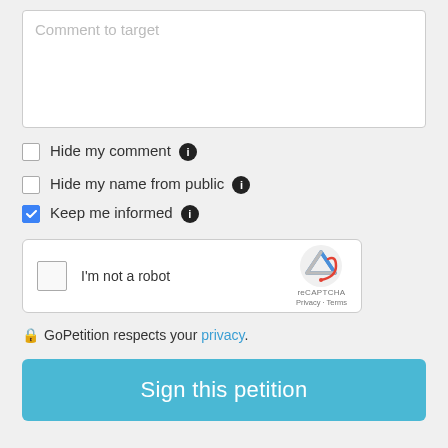[Figure (screenshot): Text area input with placeholder text 'Comment to target']
Hide my comment (info icon)
Hide my name from public (info icon)
Keep me informed (info icon) — checked
[Figure (other): reCAPTCHA widget with checkbox 'I'm not a robot', reCAPTCHA logo, Privacy and Terms links]
GoPetition respects your privacy.
Sign this petition